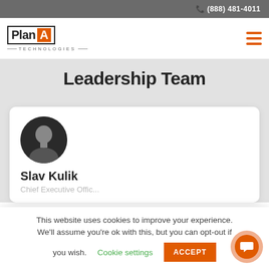(888) 481-4011
[Figure (logo): Plan A Technologies logo with orange A box and border]
Leadership Team
[Figure (photo): Black and white headshot photo of Slav Kulik]
Slav Kulik
Chief Executive Officer
This website uses cookies to improve your experience. We'll assume you're ok with this, but you can opt-out if you wish. Cookie settings ACCEPT